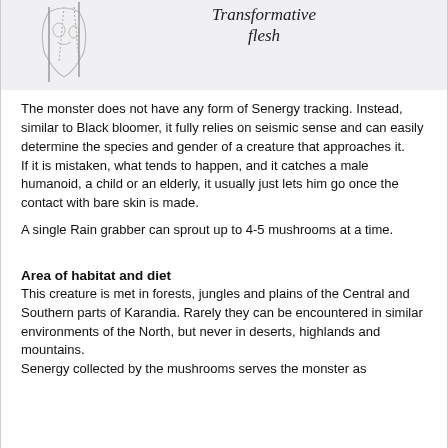[Figure (illustration): Partial sketch/drawing of a creature, partially visible at top-left of page]
Transformative flesh
The monster does not have any form of Senergy tracking. Instead, similar to Black bloomer, it fully relies on seismic sense and can easily determine the species and gender of a creature that approaches it.
If it is mistaken, what tends to happen, and it catches a male humanoid, a child or an elderly, it usually just lets him go once the contact with bare skin is made.
A single Rain grabber can sprout up to 4-5 mushrooms at a time.
Area of habitat and diet
This creature is met in forests, jungles and plains of the Central and Southern parts of Karandia. Rarely they can be encountered in similar environments of the North, but never in deserts, highlands and mountains.
Senergy collected by the mushrooms serves the monster as